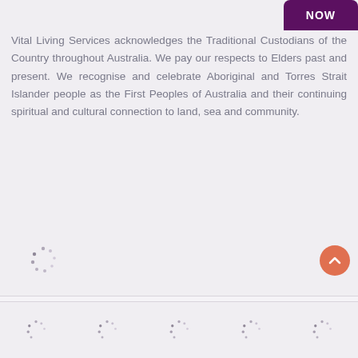[Figure (other): Dark purple rounded button with text NOW in top right corner]
Vital Living Services acknowledges the Traditional Custodians of the Country throughout Australia. We pay our respects to Elders past and present. We recognise and celebrate Aboriginal and Torres Strait Islander people as the First Peoples of Australia and their continuing spiritual and cultural connection to land, sea and community.
[Figure (other): Loading spinner dots animation placeholder]
Vital Living Solutions
Information
Product & Services
[Figure (other): Scroll to top orange circular button with upward chevron]
[Figure (other): Bottom navigation bar with five loading spinner placeholders]